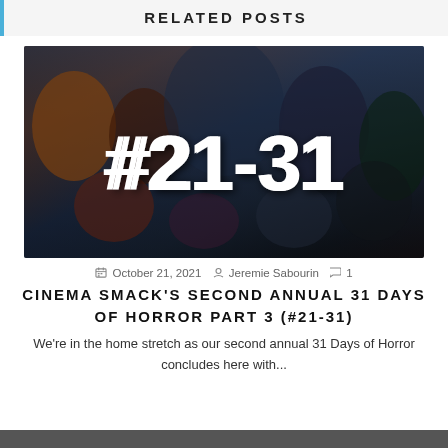RELATED POSTS
[Figure (photo): Collage of classic horror movie characters (Michael Myers, Jason Voorhees, Ghostface, Hannibal Lecter, Jaws shark, Elvira, and others) with text '#21-31' overlaid in large white bold font]
October 21, 2021 | Jeremie Sabourin | 1
CINEMA SMACK'S SECOND ANNUAL 31 DAYS OF HORROR PART 3 (#21-31)
We're in the home stretch as our second annual 31 Days of Horror concludes here with...